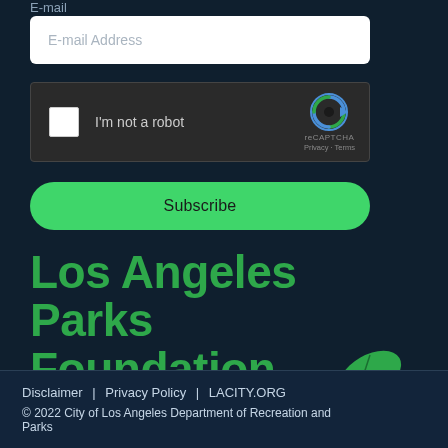E-mail
E-mail Address
[Figure (screenshot): reCAPTCHA widget with checkbox labeled 'I'm not a robot' and reCAPTCHA logo with Privacy and Terms links]
Subscribe
[Figure (logo): Los Angeles Parks Foundation logo with green leaf illustration and tagline '10 YEARS & GROWING']
Disclaimer | Privacy Policy | LACITY.ORG
© 2022 City of Los Angeles Department of Recreation and Parks